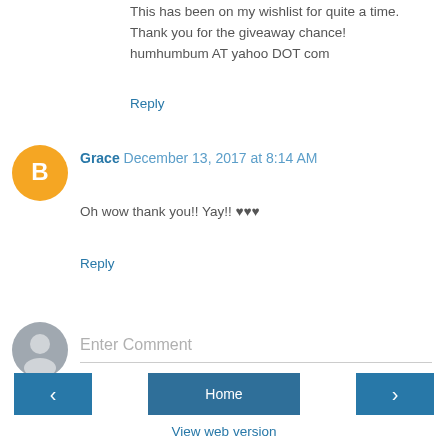This has been on my wishlist for quite a time. Thank you for the giveaway chance!
humhumbum AT yahoo DOT com
Reply
Grace  December 13, 2017 at 8:14 AM
Oh wow thank you!! Yay!! ♥♥♥
Reply
Enter Comment
Home
View web version
Powered by Blogger.